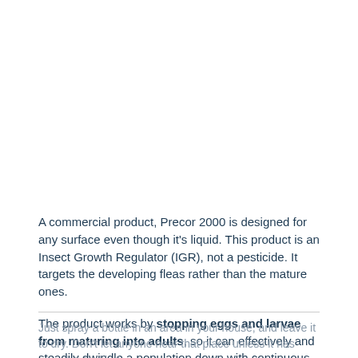A commercial product, Precor 2000 is designed for any surface even though it's liquid. This product is an Insect Growth Regulator (IGR), not a pesticide. It targets the developing fleas rather than the mature ones.
The product works by stopping eggs and larvae from maturing into adults, so it can effectively and steadily dwindle a population down with continuous usage.
Just spray a bottle in an area in your house, and leave it to dry. Don't let anyone near that place unless it has completely dried.